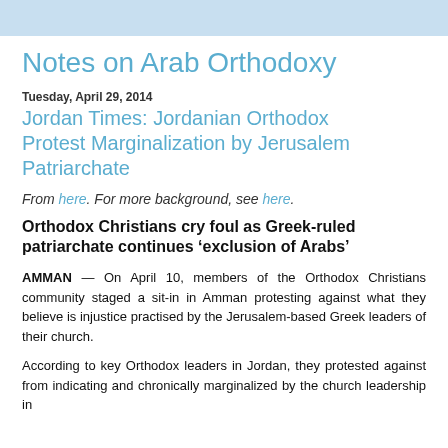Notes on Arab Orthodoxy
Tuesday, April 29, 2014
Jordan Times: Jordanian Orthodox Protest Marginalization by Jerusalem Patriarchate
From here. For more background, see here.
Orthodox Christians cry foul as Greek-ruled patriarchate continues ‘exclusion of Arabs’
AMMAN — On April 10, members of the Orthodox Christians community staged a sit-in in Amman protesting against what they believe is injustice practised by the Jerusalem-based Greek leaders of their church.
According to key Orthodox leaders in Jordan, they protested against from indicating and chronically marginalized by the church leadership in